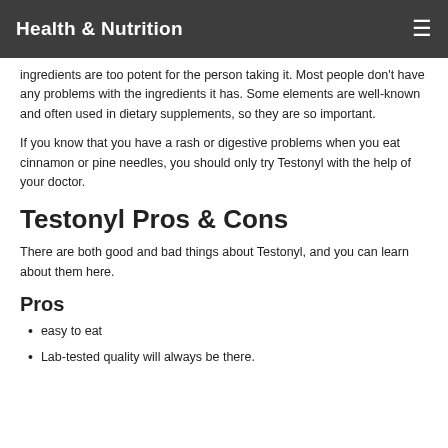Health & Nutrition
ingredients are too potent for the person taking it. Most people don't have any problems with the ingredients it has. Some elements are well-known and often used in dietary supplements, so they are so important.
If you know that you have a rash or digestive problems when you eat cinnamon or pine needles, you should only try Testonyl with the help of your doctor.
Testonyl Pros & Cons
There are both good and bad things about Testonyl, and you can learn about them here.
Pros
easy to eat
Lab-tested quality will always be there.